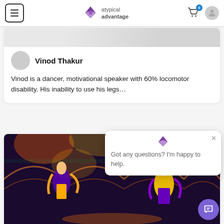atypical advantage
[Figure (photo): Partial image strip at top of profile card]
Vinod Thakur
Vinod is a dancer, motivational speaker with 60% locomotor disability. His inability to use his legs...
[Figure (photo): Photo of dancers in colorful traditional Indian costumes performing on a decorated stage]
Got any questions? I'm happy to help.